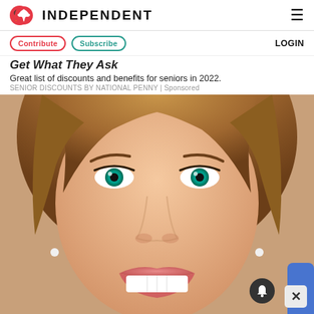INDEPENDENT
Contribute | Subscribe | LOGIN
Get What They Ask
Great list of discounts and benefits for seniors in 2022.
SENIOR DISCOUNTS BY NATIONAL PENNY | Sponsored
[Figure (photo): Close-up photo of a smiling woman with green eyes and brown hair, showing bright white teeth. Partially overlaid with a notification bell icon and a close (X) button.]